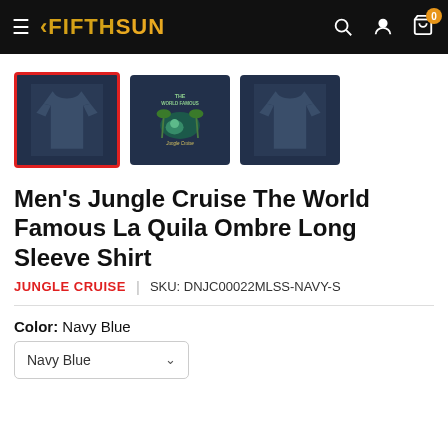Fifth Sun — navigation header with logo, search, account, and cart icons
[Figure (photo): Three product thumbnail images of a navy blue long sleeve shirt: front view (selected, highlighted with red border), back view with graphic design, and another front view]
Men's Jungle Cruise The World Famous La Quila Ombre Long Sleeve Shirt
JUNGLE CRUISE  |  SKU: DNJC00022MLSS-NAVY-S
Color:  Navy Blue
Navy Blue